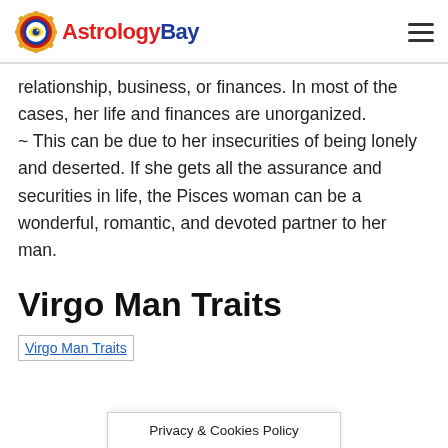AstrologyBay
relationship, business, or finances. In most of the cases, her life and finances are unorganized.
~ This can be due to her insecurities of being lonely and deserted. If she gets all the assurance and securities in life, the Pisces woman can be a wonderful, romantic, and devoted partner to her man.
Virgo Man Traits
[Figure (photo): Broken image placeholder labeled 'Virgo Man Traits']